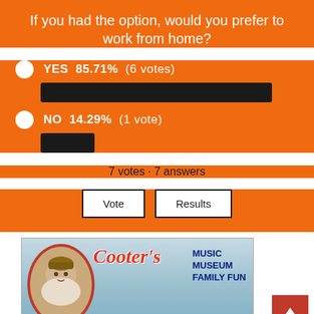If you had the option, would you prefer to work from home?
[Figure (bar-chart): Work from home poll results]
7 votes · 7 answers
[Figure (infographic): Cooter's Music Museum Family Fun in the Valley advertisement banner with a smiling man in a cap, red cursive Cooter's logo, and text: MUSIC MUSEUM FAMILY FUN]